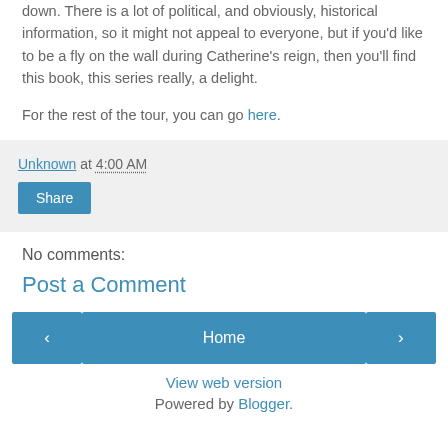down. There is a lot of political, and obviously, historical information, so it might not appeal to everyone, but if you'd like to be a fly on the wall during Catherine's reign, then you'll find this book, this series really, a delight.
For the rest of the tour, you can go here.
Unknown at 4:00 AM
Share
No comments:
Post a Comment
‹
Home
›
View web version
Powered by Blogger.